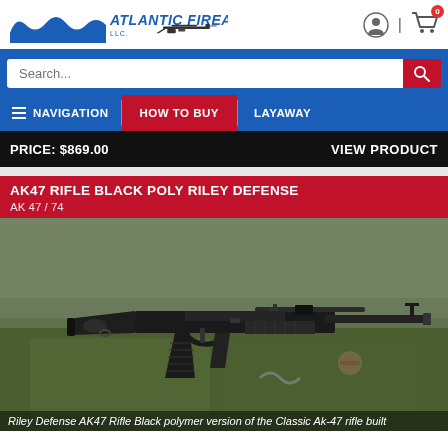[Figure (screenshot): Atlantic Firearms website header with logo, wave graphic, AK rifle silhouette, user icon, and cart icon showing 0 items]
[Figure (screenshot): Blue search bar with white search input field and red search button with magnifying glass icon]
[Figure (screenshot): Blue navigation bar with hamburger menu icon and NAVIGATION text, HOW TO BUY button in red, and LAYAWAY text]
PRICE: $869.00
VIEW PRODUCT
AK47 RIFLE BLACK POLY RILEY DEFENSE
AK 47 / 74
[Figure (photo): AK47 rifle with black polymer stock and furniture displayed on green military equipment background]
Riley Defense AK47 Rifle Black polymer version of the Classic Ak-47 rifle built